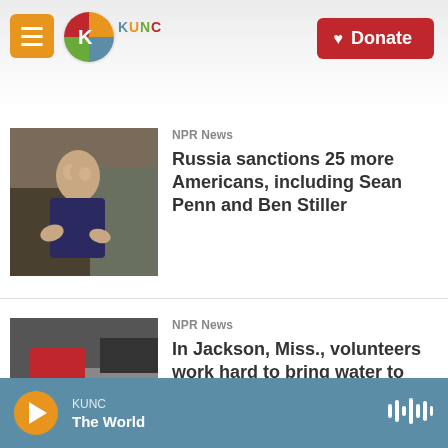KUNC | NPR News | Donate
[Figure (photo): Photo of Ben Stiller gesturing with hands, speaking to someone]
NPR News
Russia sanctions 25 more Americans, including Sean Penn and Ben Stiller
[Figure (photo): Person in red shirt carrying water bottles]
NPR News
In Jackson, Miss., volunteers work hard to bring water to residents who need help
KUNC The World